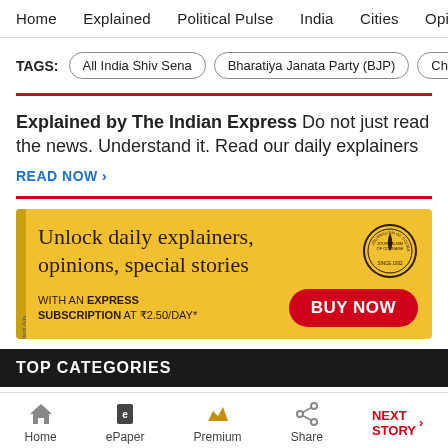Home  Explained  Political Pulse  India  Cities  Opinion  Entertainment
TAGS:  All India Shiv Sena  Bharatiya Janata Party (BJP)  Chandra
Explained by The Indian Express Do not just read the news. Understand it. Read our daily explainers
READ NOW >
[Figure (infographic): Yellow advertisement banner: 'Unlock daily explainers, opinions, special stories WITH AN EXPRESS SUBSCRIPTION AT ₹2.50/DAY* BUY NOW' with a circular seal logo]
TOP CATEGORIES
Home  ePaper  Premium  Share  NEXT STORY >